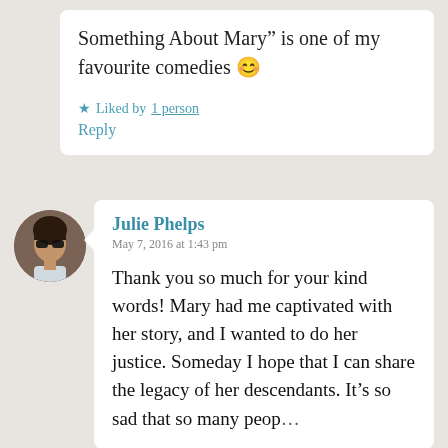Something About Mary” is one of my favourite comedies 🙂
★ Liked by 1 person
Reply
[Figure (photo): Circular avatar photo of Julie Phelps wearing sunglasses]
Julie Phelps
May 7, 2016 at 1:43 pm
Thank you so much for your kind words! Mary had me captivated with her story, and I wanted to do her justice. Someday I hope that I can share the legacy of her descendants. It’s so sad that so many peop…